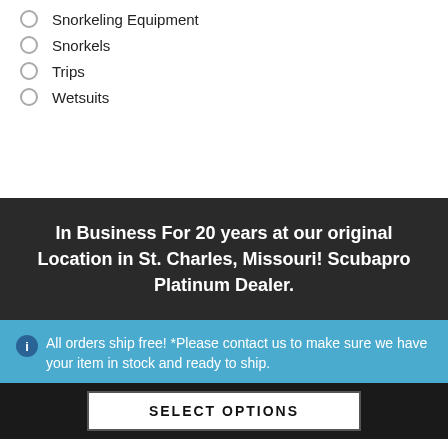Snorkeling Equipment
Snorkels
Trips
Wetsuits
In Business For 20 years at our original Location in St. Charles, Missouri! Scubapro Platinum Dealer.
All orders ship free! *Please contact us to make sure we have your item in stock and ready to ship.
SELECT OPTIONS